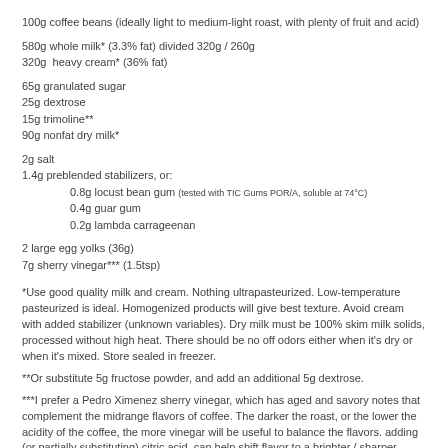100g coffee beans (ideally light to medium-light roast, with plenty of fruit and acid)
580g whole milk* (3.3% fat) divided 320g / 260g
320g  heavy cream* (36% fat)
65g granulated sugar
25g dextrose
15g trimoline**
90g nonfat dry milk*
2g salt
1.4g preblended stabilizers, or:
0.8g locust bean gum (tested with TIC Gums POR/A, soluble at 74°C)
0.4g guar gum
0.2g lambda carrageenan
2 large egg yolks (36g)
7g sherry vinegar*** (1.5tsp)
*Use good quality milk and cream. Nothing ultrapasteurized. Low-temperature pasteurized is ideal. Homogenized products will give best texture. Avoid cream with added stabilizer (unknown variables). Dry milk must be 100% skim milk solids, processed without high heat. There should be no off odors either when it's dry or when it's mixed. Store sealed in freezer.
**Or substitute 5g fructose powder, and add an additional 5g dextrose.
***I prefer a Pedro Ximenez sherry vinegar, which has aged and savory notes that complement the midrange flavors of coffee. The darker the roast, or the lower the acidity of the coffee, the more vinegar will be useful to balance the flavors. adding (or partially substituting) citric acid  can help shift flavor to a brighter / sharper acidity. This may be helpfful if your coffee lacks high notes.
-set immersion circulator to 77°C / 171°F